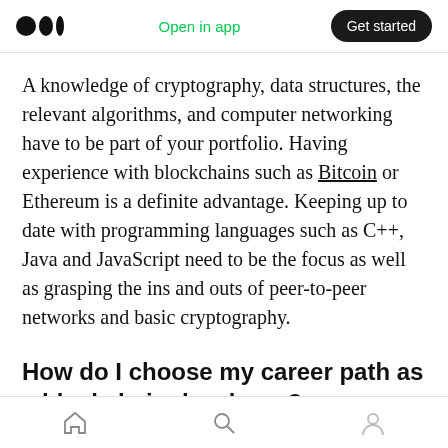Open in app | Get started
A knowledge of cryptography, data structures, the relevant algorithms, and computer networking have to be part of your portfolio. Having experience with blockchains such as Bitcoin or Ethereum is a definite advantage. Keeping up to date with programming languages such as C++, Java and JavaScript need to be the focus as well as grasping the ins and outs of peer-to-peer networks and basic cryptography.
How do I choose my career path as a blockchain developer?